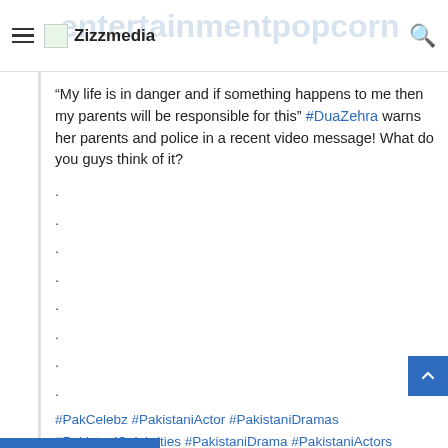Zizzmedia
“My life is in danger and if something happens to me then my parents will be responsible for this” #DuaZehra warns her parents and police in a recent video message! What do you guys think of it?
#PakCelebz #PakistaniActor #PakistaniDramas #PakistaniCelebrities #PakistaniDrama #PakistaniActors #MahiraKhan #AimanKhan #SarahKhan #HaniaAmir #MehwishHayat #IqraAziz #AyezaKhan #SajalAly #NaimalKhawar #MinalKhan #MawraHocane #UrwaHocane #HaniaAmir #MayaAli #MehwishHayat #AlizehShah #FerozeKhan #ShowbizPakistan #Lollywood #EntertainmentPopcorn
view all 462 comments